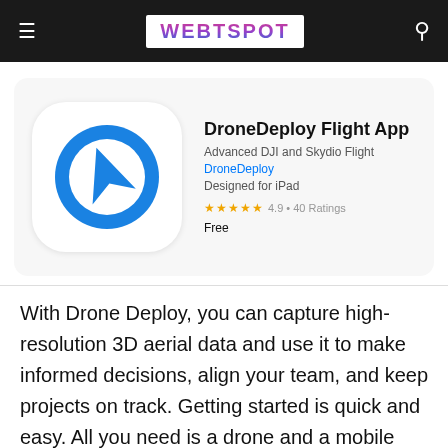WEBTSPOT
[Figure (screenshot): DroneDeploy Flight App icon: blue circle with a white navigation arrow cursor on white rounded-square background]
DroneDeploy Flight App
Advanced DJI and Skydio Flight
DroneDeploy
Designed for iPad
★★★★★ 4.9 • 40 Ratings
Free
With Drone Deploy, you can capture high-resolution 3D aerial data and use it to make informed decisions, align your team, and keep projects on track. Getting started is quick and easy. All you need is a drone and a mobile device.